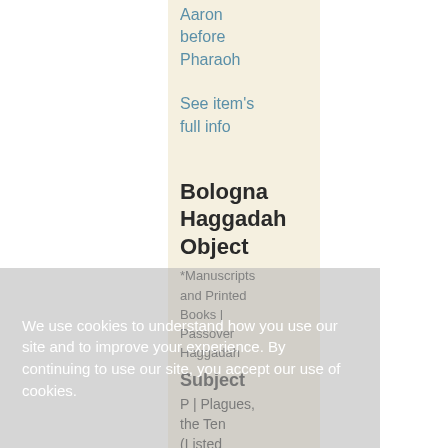Aaron before Pharaoh
See item's full info
Bologna Haggadah Object
*Manuscripts and Printed Books | Passover Haggadah
Subject
P | Plagues, the Ten (Listed according
We use cookies to understand how you use our site and to improve your experience. By continuing to use our site, you accept our use of cookies.